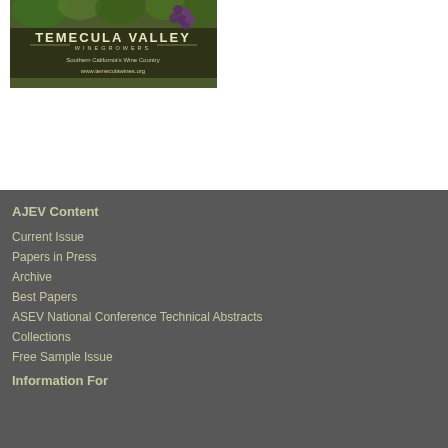[Figure (photo): Temecula Valley Winegrowers advertisement showing vineyard with grapes, text reads 'TEMECULA VALLEY WINEGROWERS Southern California's Wine Country www.temeculawines.org']
AJEV Content
Current Issue
Papers in Press
Archive
Best Papers
ASEV National Conference Technical Abstracts
Collections
Free Sample Issue
Information For